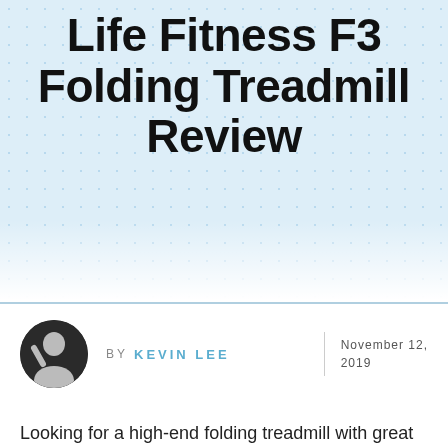Life Fitness F3 Folding Treadmill Review
BY KEVIN LEE    November 12, 2019
Looking for a high-end folding treadmill with great features, above-average cushioning to protect your joints and powerful functionality? The Life Fitness F3 Folding Treadmill could be the machine for you. In this article, we go in-depth on the F3 to allow you to get the hype-free facts.